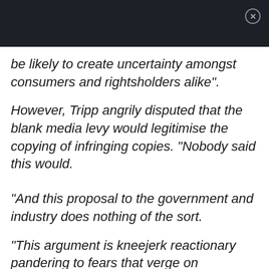be likely to create uncertainty amongst consumers and rightsholders alike".
However, Tripp angrily disputed that the blank media levy would legitimise the copying of infringing copies. "Nobody said this would.
"And this proposal to the government and industry does nothing of the sort.
"This argument is kneejerk reactionary pandering to fears that verge on propaganda rather than honesty".